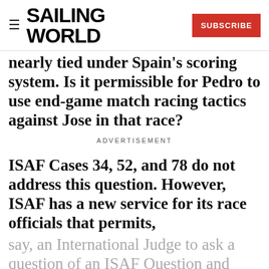SAILING WORLD | SUBSCRIBE
nearly tied under Spain's scoring system. Is it permissible for Pedro to use end-game match racing tactics against Jose in that race?
ADVERTISEMENT
ISAF Cases 34, 52, and 78 do not address this question. However, ISAF has a new service for its race officials that permits,
say, an International Judge to ask a question of an ISAF Question and Answer